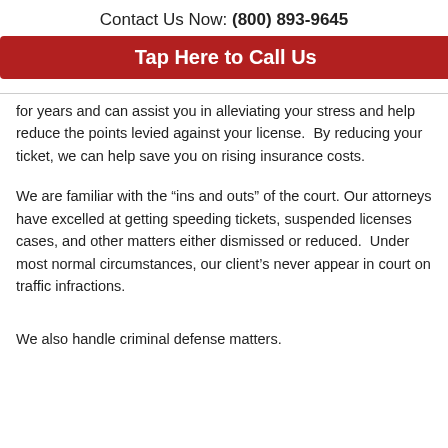Contact Us Now: (800) 893-9645
Tap Here to Call Us
for years and can assist you in alleviating your stress and help reduce the points levied against your license.  By reducing your ticket, we can help save you on rising insurance costs.
We are familiar with the “ins and outs” of the court. Our attorneys have excelled at getting speeding tickets, suspended licenses cases, and other matters either dismissed or reduced.  Under most normal circumstances, our client’s never appear in court on traffic infractions.
We also handle criminal defense matters.